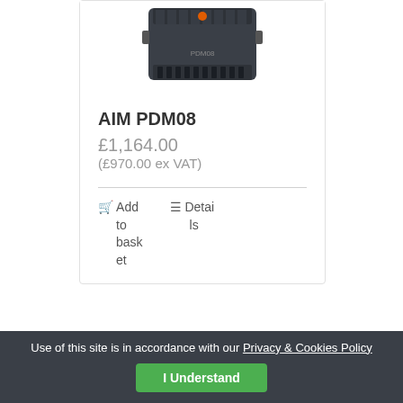[Figure (photo): AIM PDM08 electronic device - dark grey/black box with connectors visible at top]
AIM PDM08
£1,164.00
(£970.00 ex VAT)
Add to basket
Details
[Figure (photo): Circular gauge/display showing 4517 and 1.00 readings with black bezel]
Use of this site is in accordance with our Privacy & Cookies Policy
I Understand